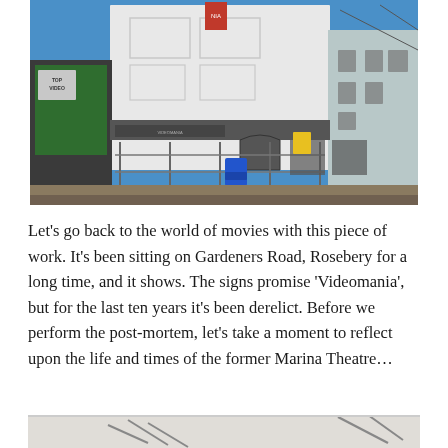[Figure (photo): Exterior photograph of a derelict white Art Deco cinema building on a street corner, with a 'Videomania' sign partially visible and a 'Top Video' sign on an adjacent building. Blue sky background, blue rubbish bin visible, fencing around the building.]
Let's go back to the world of movies with this piece of work. It's been sitting on Gardeners Road, Rosebery for a long time, and it shows. The signs promise ‘Videomania’, but for the last ten years it's been derelict. Before we perform the post-mortem, let's take a moment to reflect upon the life and times of the former Marina Theatre…
[Figure (photo): Partial view of a second photograph, showing what appears to be the bottom portion of a historical image, partially cut off.]